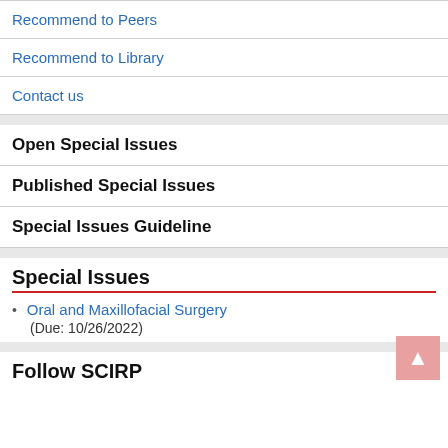Recommend to Peers
Recommend to Library
Contact us
Open Special Issues
Published Special Issues
Special Issues Guideline
Special Issues
Oral and Maxillofacial Surgery
(Due: 10/26/2022)
Follow SCIRP